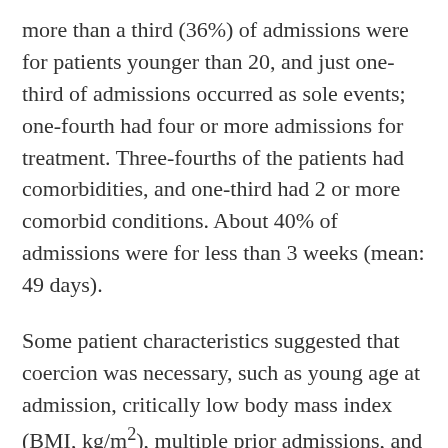more than a third (36%) of admissions were for patients younger than 20, and just one-third of admissions occurred as sole events; one-fourth had four or more admissions for treatment. Three-fourths of the patients had comorbidities, and one-third had 2 or more comorbid conditions. About 40% of admissions were for less than 3 weeks (mean: 49 days).
Some patient characteristics suggested that coercion was necessary, such as young age at admission, critically low body mass index (BMI, kg/m²), multiple prior admissions, and comorbid conditions. Neither gender nor the type of AN was significant in this study; statistically significant associations were found between use of coercion and the refeeding syndrome, the use of tube feeding and locked wards. Coerced admission was also tied to critically low